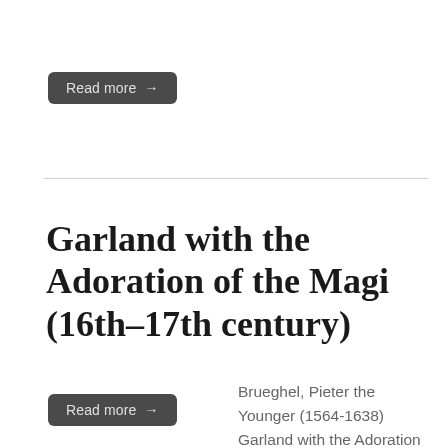Read more →
Garland with the Adoration of the Magi (16th–17th century)
Brueghel, Pieter the Younger (1564-1638) Garland with the Adoration of the Magi 16th–17th century Oil on copper, 35 x 29 cm Museo del Prado, Madrid
Read more →